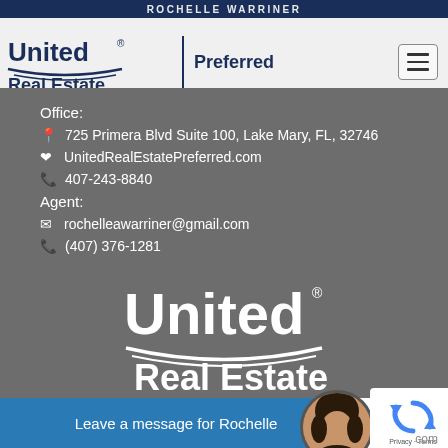ROCHELLE WARRINER
[Figure (logo): United Real Estate Preferred logo with text and horizontal lines, dark navy blue, in the header bar]
Office:
725 Primera Blvd Suite 100, Lake Mary, FL, 32746
UnitedRealEstatePreferred.com
407-243-8840
Agent:
rochelleawarriner@gmail.com
(407) 376-1281
[Figure (logo): United Real Estate logo in white on gray background, large centered text]
Leave a message for Rochelle
[Figure (photo): Circular agent photo of Rochelle Warriner, a woman with dark hair]
[Figure (other): Google reCAPTCHA widget with Privacy and Terms text]